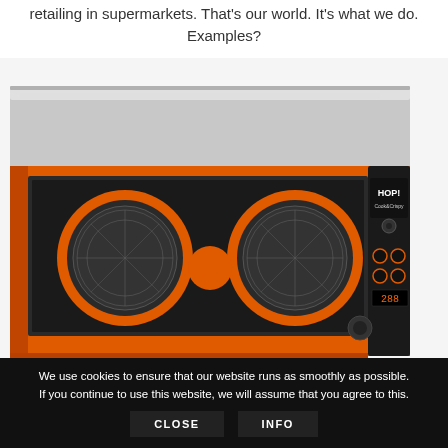retailing in supermarkets. That's our world. It's what we do. Examples?
[Figure (photo): Orange commercial rotisserie/convection oven with stainless steel top, glass front showing rotating baskets, and a black control panel on the right side with HOP! Cook & Crispy branding and digital display.]
We use cookies to ensure that our website runs as smoothly as possible. If you continue to use this website, we will assume that you agree to this.
CLOSE   INFO